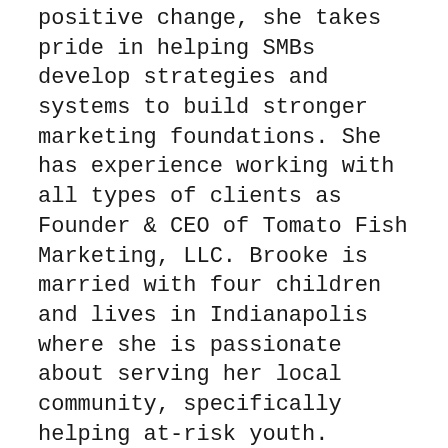positive change, she takes pride in helping SMBs develop strategies and systems to build stronger marketing foundations. She has experience working with all types of clients as Founder & CEO of Tomato Fish Marketing, LLC. Brooke is married with four children and lives in Indianapolis where she is passionate about serving her local community, specifically helping at-risk youth.
Brooke's Gift for the listeners: discoverredmap.com
Brooke's Website: https://tomatofishmktg.com
Check out Brooke's whitepaper on